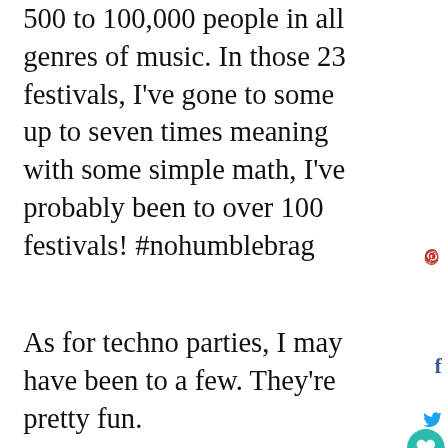500 to 100,000 people in all genres of music. In those 23 festivals, I've gone to some up to seven times meaning with some simple math, I've probably been to over 100 festivals! #nohumblebrag
As for techno parties, I may have been to a few. They're pretty fun.
[Figure (photo): Woman with sunglasses smiling outdoors with bare trees and sky in background]
[Figure (infographic): What's Next promo box showing thumbnail and text 'The Ultimate Scotland...']
[Figure (infographic): Advertisement bar for Topgolf: 'Food & Fun For Everyone' with Topgolf logo and blue diamond icon]